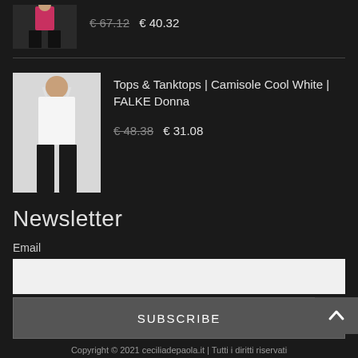[Figure (photo): Product image of a woman wearing a pink/red top with black pants, partially visible at top of page]
€ 67.12  € 40.32
[Figure (photo): Product image of a woman wearing a white camisole tank top with black pants]
Tops & Tanktops | Camisole Cool White | FALKE Donna
€ 48.38  € 31.08
Newsletter
Email
SUBSCRIBE
Copyright © 2021 ceciliadepaola.it | Tutti i diritti riservati